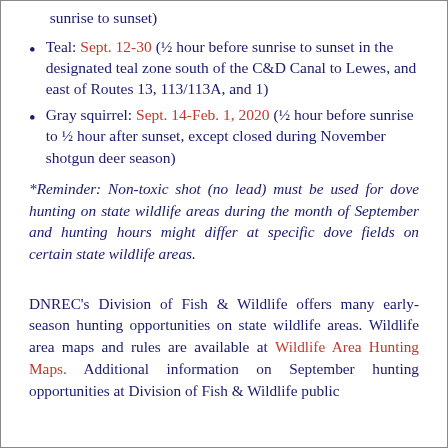sunrise to sunset)
Teal: Sept. 12-30 (½ hour before sunrise to sunset in the designated teal zone south of the C&D Canal to Lewes, and east of Routes 13, 113/113A, and 1)
Gray squirrel: Sept. 14-Feb. 1, 2020 (½ hour before sunrise to ½ hour after sunset, except closed during November shotgun deer season)
*Reminder: Non-toxic shot (no lead) must be used for dove hunting on state wildlife areas during the month of September and hunting hours might differ at specific dove fields on certain state wildlife areas.
DNREC's Division of Fish & Wildlife offers many early-season hunting opportunities on state wildlife areas. Wildlife area maps and rules are available at Wildlife Area Hunting Maps. Additional information on September hunting opportunities at Division of Fish & Wildlife public